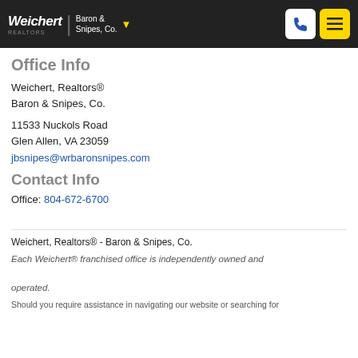Weichert | Baron & Snipes, Co.
Office Info
Weichert, Realtors®
Baron & Snipes, Co.
11533 Nuckols Road
Glen Allen, VA 23059
jbsnipes@wrbaronsnipes.com
Contact Info
Office: 804-672-6700
Weichert, Realtors® - Baron & Snipes, Co.
Each Weichert® franchised office is independently owned and operated.
Should you require assistance in navigating our website or searching for